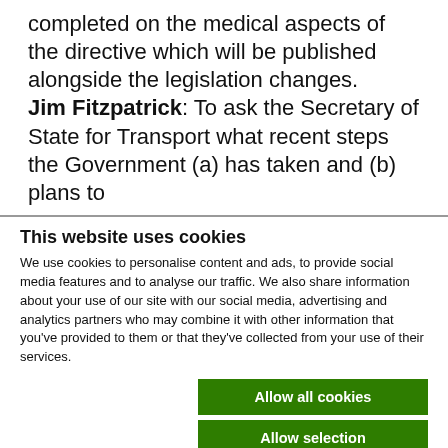completed on the medical aspects of the directive which will be published alongside the legislation changes. Jim Fitzpatrick: To ask the Secretary of State for Transport what recent steps the Government (a) has taken and (b) plans to
This website uses cookies
We use cookies to personalise content and ads, to provide social media features and to analyse our traffic. We also share information about your use of our site with our social media, advertising and analytics partners who may combine it with other information that you've provided to them or that they've collected from your use of their services.
Allow all cookies | Allow selection | Use necessary cookies only
| Necessary | Preferences | Statistics | Show details |
| --- | --- | --- | --- |
| Marketing |  |  |  |